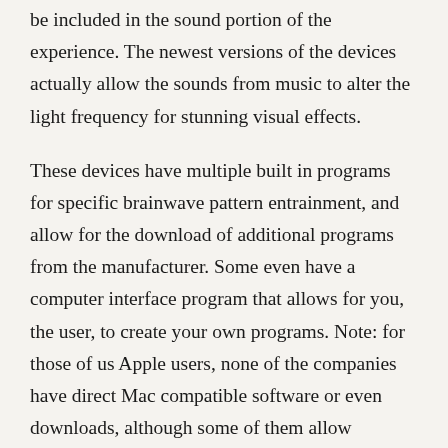be included in the sound portion of the experience. The newest versions of the devices actually allow the sounds from music to alter the light frequency for stunning visual effects.
These devices have multiple built in programs for specific brainwave pattern entrainment, and allow for the download of additional programs from the manufacturer. Some even have a computer interface program that allows for you, the user, to create your own programs. Note: for those of us Apple users, none of the companies have direct Mac compatible software or even downloads, although some of them allow Windows emulation software to allow for this function.